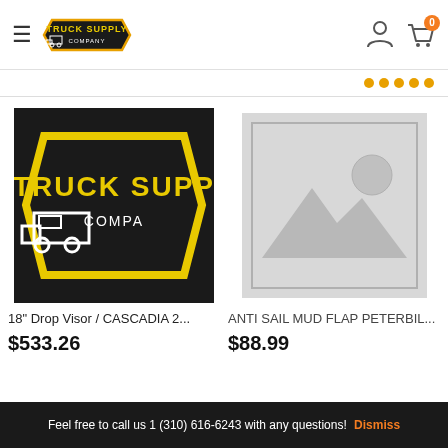Truck Supply Company — navigation header with hamburger menu, logo, user icon, and cart icon (badge: 0)
[Figure (logo): Truck Supply Company logo — black hexagon shape with yellow text 'TRUCK SUPPLY' and 'COMPANY', white truck outline on left]
[Figure (photo): Product image for 18" Drop Visor / CASCADIA 2... — Truck Supply Company logo used as placeholder]
18" Drop Visor / CASCADIA 2...
$533.26
[Figure (photo): Placeholder image for ANTI SAIL MUD FLAP PETERBIL... — grey box with mountain/sun placeholder icon]
ANTI SAIL MUD FLAP PETERBIL...
$88.99
Feel free to call us 1 (310) 616-6243 with any questions! Dismiss